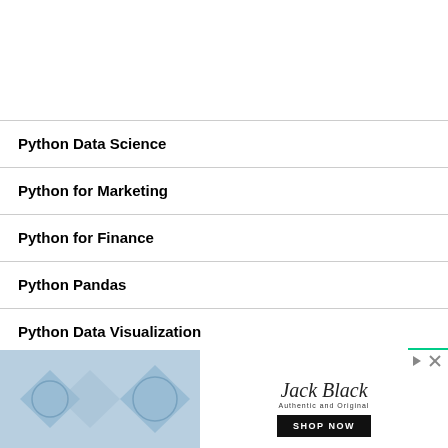Python Data Science
Python for Marketing
Python for Finance
Python Pandas
Python Data Visualization
[Figure (photo): Advertisement banner: 'SHOP NOW. PAY LATER.' on the left with Jack Black brand logo and SHOP NOW button on the right]